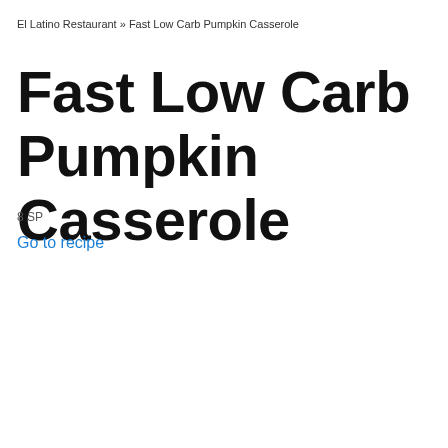El Latino Restaurant » Fast Low Carb Pumpkin Casserole
Fast Low Carb Pumpkin Casserole
8 SP
Go to recipe